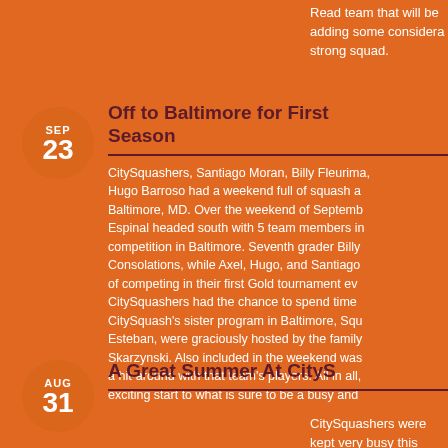Read team that will be adding some considerable depth to an already strong squad.
Off to Baltimore for First Season
CitySquashers, Santiago Moran, Billy Fleurima, Hugo Barroso had a weekend full of squash a Baltimore, MD. Over the weekend of Septemb Espinal headed south with 5 team members in competition in Baltimore. Seventh grader Billy Consolations, while Axel, Hugo, and Santiago of competing in their first Gold tournament ev CitySquashers had the chance to spend time CitySquash’s sister program in Baltimore, Squ Esteban, were graciously hosted by the family Skarzynski. Also included in the weekend was a hit-around with that team’s players. All in all, exciting start to what is sure to be a busy and
A Great Summer At CityS
CitySquashers were kept very busy this summ middle and high school students were som